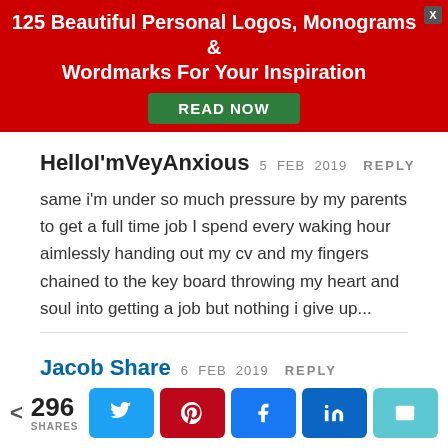[Figure (infographic): Red promotional banner with text '125 Beautiful Personal Logos, Monograms & Wordmarks For Your Inspiration' and a green 'READ NOW' button, with a close X button in the corner.]
HelloI'mVeyAnxious  5 FEB 2019    REPLY
same i'm under so much pressure by my parents to get a full time job I spend every waking hour aimlessly handing out my cv and my fingers chained to the key board throwing my heart and soul into getting a job but nothing i give up...
Jacob Share  6 FEB 2019    REPLY
Don't give up! Just change tactics.
If you're NOT desperate for cash, skip this step: take the
< 296 SHARES